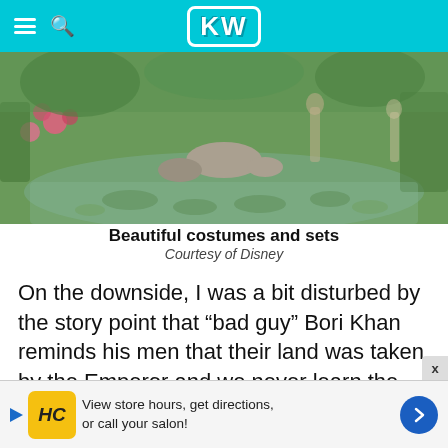KW
[Figure (photo): Garden/pond scene with lily pads, flowers, rocks, and lush greenery — likely a movie set or costume scene backdrop]
Beautiful costumes and sets
Courtesy of Disney
On the downside, I was a bit disturbed by the story point that "bad guy" Bori Khan reminds his men that their land was taken by the Emperor and we never learn the circumstances in which his father was killed by the ruler (in the last war I assume). Does taking people's land make the Emperor a her—
[Figure (other): Advertisement bar: HC (Hair Club) salon ad — View store hours, get directions, or call your salon!]